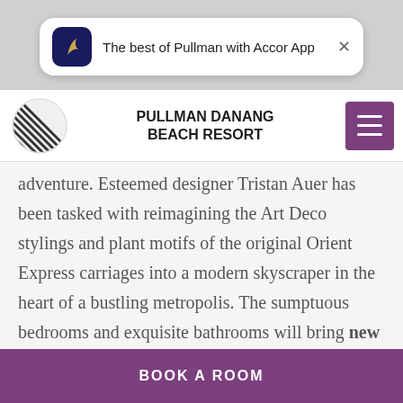[Figure (screenshot): Mobile notification banner with Accor app icon (dark blue with gold leaf/flame logo) and text 'The best of Pullman with Accor App' with a close X button]
PULLMAN DANANG BEACH RESORT
adventure. Esteemed designer Tristan Auer has been tasked with reimagining the Art Deco stylings and plant motifs of the original Orient Express carriages into a modern skyscraper in the heart of a bustling metropolis. The sumptuous bedrooms and exquisite bathrooms will bring new levels of style and luxury to Bangkok. The hotel will also
BOOK A ROOM